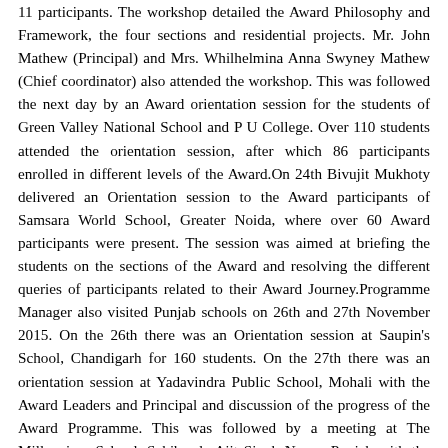11 participants. The workshop detailed the Award Philosophy and Framework, the four sections and residential projects. Mr. John Mathew (Principal) and Mrs. Whilhelmina Anna Swyney Mathew (Chief coordinator) also attended the workshop. This was followed the next day by an Award orientation session for the students of Green Valley National School and P U College. Over 110 students attended the orientation session, after which 86 participants enrolled in different levels of the Award.On 24th Bivujit Mukhoty delivered an Orientation session to the Award participants of Samsara World School, Greater Noida, where over 60 Award participants were present. The session was aimed at briefing the students on the sections of the Award and resolving the different queries of participants related to their Award Journey.Programme Manager also visited Punjab schools on 26th and 27th November 2015. On the 26th there was an Orientation session at Saupin's School, Chandigarh for 160 students. On the 27th there was an orientation session at Yadavindra Public School, Mohali with the Award Leaders and Principal and discussion of the progress of the Award Programme. This was followed by a meeting at The Millennium School, Sahibzada Ajit Singh Nagar, Punjab with the Principal and staff about the opportunities to start the Programme at the school.Mr. Mukhoty also met Ms. Snehlata, Dy Director Science Education and Coordinator Award Programme, Department